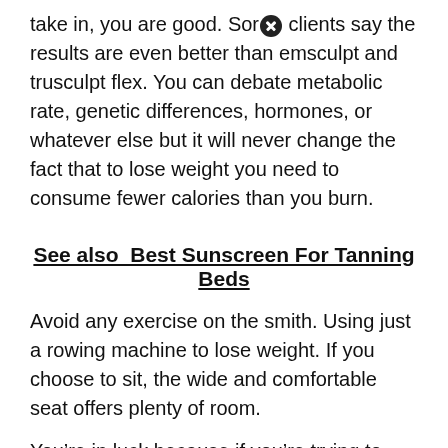take in, you are good. Sorⓧ clients say the results are even better than emsculpt and trusculpt flex. You can debate metabolic rate, genetic differences, hormones, or whatever else but it will never change the fact that to lose weight you need to consume fewer calories than you burn.
See also  Best Sunscreen For Tanning Beds
Avoid any exercise on the smith. Using just a rowing machine to lose weight. If you choose to sit, the wide and comfortable seat offers plenty of room.
You’re in luck because if you’re trying to lose weight or burn that last bit of belly fat with cardio this. I just recently got a rowing maⓧnine at home and spend